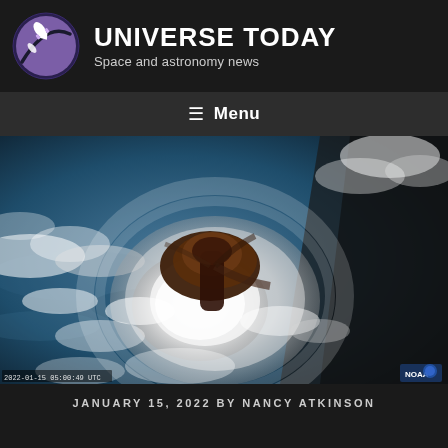UNIVERSE TODAY — Space and astronomy news
≡ Menu
[Figure (photo): Satellite image of the Hunga Tonga-Hunga Ha'apai volcanic eruption as seen from space, showing a large ash and steam plume surrounded by swirling cloud formations over the ocean. The eruption plume appears as a dark brown mushroom-shaped cloud at center, with white shock-wave rings visible in the surrounding clouds.]
JANUARY 15, 2022 BY NANCY ATKINSON